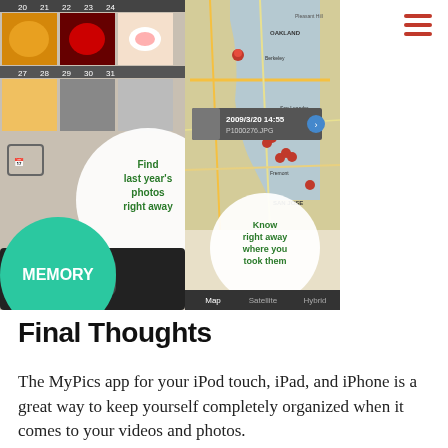[Figure (screenshot): Screenshot of the MyPics iPhone app showing a calendar photo grid on the left with a callout bubble saying 'Find last year's photos right away', and a map view of the San Francisco Bay Area on the right with red pins and a callout saying 'Know right away where you took them'. A teal/green circle badge with 'MEMORY' text is overlaid at lower left. A photo detail popup shows '2009/3/20 14:55 P1000276.JPG'.]
Final Thoughts
The MyPics app for your iPod touch, iPad, and iPhone is a great way to keep yourself completely organized when it comes to your videos and photos.